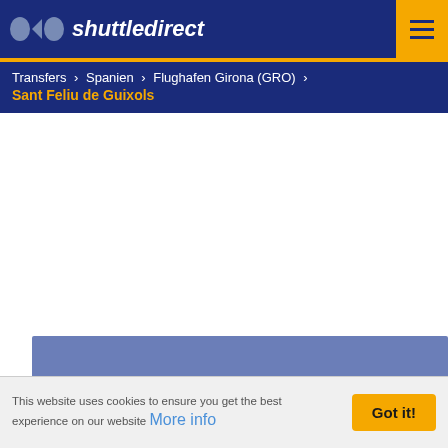shuttledirect
Transfers > Spanien > Flughafen Girona (GRO) >
Sant Feliu de Guixols
[Figure (map): Map placeholder area with blue background and a 'Show map' button in the center]
This website uses cookies to ensure you get the best experience on our website More info
Got it!